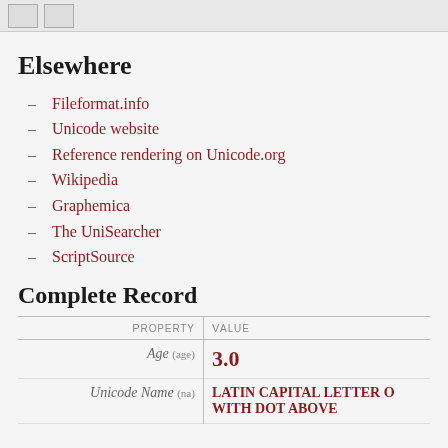Elsewhere
Fileformat.info
Unicode website
Reference rendering on Unicode.org
Wikipedia
Graphemica
The UniSearcher
ScriptSource
Complete Record
| Property | Value |
| --- | --- |
| Age (age) | 3.0 |
| Unicode Name (na) | LATIN CAPITAL LETTER O WITH DOT ABOVE |